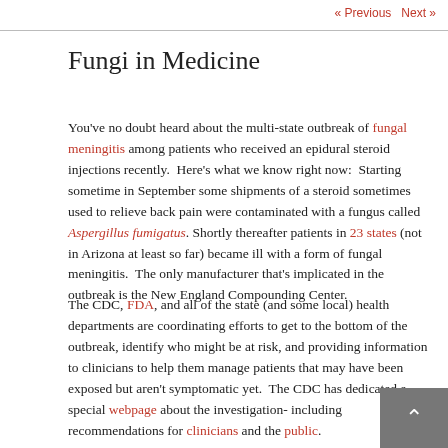« Previous   Next »
Fungi in Medicine
You've no doubt heard about the multi-state outbreak of fungal meningitis among patients who received an epidural steroid injections recently. Here's what we know right now: Starting sometime in September some shipments of a steroid sometimes used to relieve back pain were contaminated with a fungus called Aspergillus fumigatus. Shortly thereafter patients in 23 states (not in Arizona at least so far) became ill with a form of fungal meningitis. The only manufacturer that's implicated in the outbreak is the New England Compounding Center.
The CDC, FDA, and all of the state (and some local) health departments are coordinating efforts to get to the bottom of the outbreak, identify who might be at risk, and providing information to clinicians to help them manage patients that may have been exposed but aren't symptomatic yet. The CDC has dedicated a special webpage about the investigation- including recommendations for clinicians and the public.